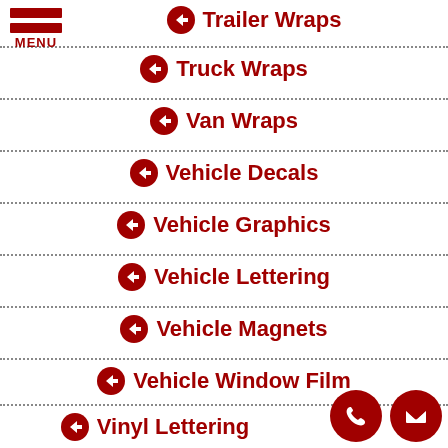[Figure (infographic): Hamburger menu icon with three red horizontal bars and MENU label]
Trailer Wraps
Truck Wraps
Van Wraps
Vehicle Decals
Vehicle Graphics
Vehicle Lettering
Vehicle Magnets
Vehicle Window Film
Vinyl Lettering
[Figure (infographic): Phone call button (red circle with phone icon) and email button (red circle with envelope icon) in bottom right corner]